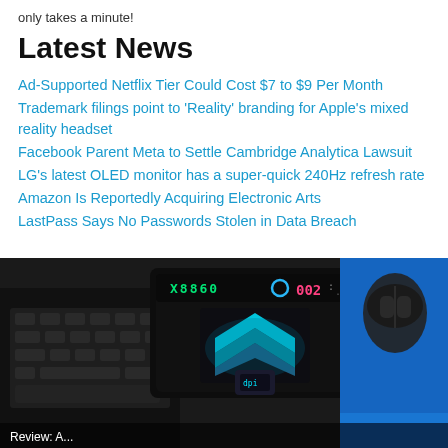only takes a minute!
Latest News
Ad-Supported Netflix Tier Could Cost $7 to $9 Per Month
Trademark filings point to ‘Reality’ branding for Apple’s mixed reality headset
Facebook Parent Meta to Settle Cambridge Analytica Lawsuit
LG’s latest OLED monitor has a super-quick 240Hz refresh rate
Amazon Is Reportedly Acquiring Electronic Arts
LastPass Says No Passwords Stolen in Data Breach
[Figure (photo): Close-up photo of a gaming device labeled X8860 with colorful RGB lighting and a stylized logo, placed on a desk next to a laptop keyboard and a blue mouse pad with a black mouse]